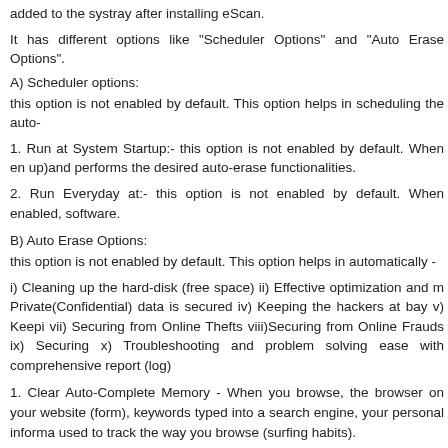added to the systray after installing eScan.
It has different options like "Scheduler Options" and "Auto Erase Options".
A) Scheduler options:
this option is not enabled by default. This option helps in scheduling the auto-
1. Run at System Startup:- this option is not enabled by default. When en up)and performs the desired auto-erase functionalities.
2. Run Everyday at:- this option is not enabled by default. When enabled, software.
B) Auto Erase Options:
this option is not enabled by default. This option helps in automatically -
i) Cleaning up the hard-disk (free space) ii) Effective optimization and m Private(Confidential) data is secured iv) Keeping the hackers at bay v) Keepi vii) Securing from Online Thefts viii)Securing from Online Frauds ix) Securing x) Troubleshooting and problem solving ease with comprehensive report (log)
1. Clear Auto-Complete Memory - When you browse, the browser on your website (form), keywords typed into a search engine, your personal informa used to track the way you browse (surfing habits).